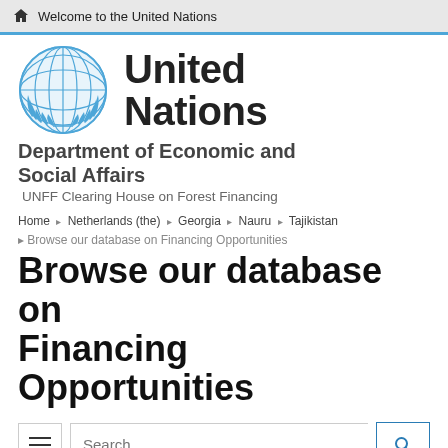Welcome to the United Nations
[Figure (logo): United Nations emblem in blue]
United Nations
Department of Economic and Social Affairs
UNFF Clearing House on Forest Financing
Home › Netherlands (the) › Georgia › Nauru › Tajikistan · Browse our database on Financing Opportunities
Browse our database on Financing Opportunities